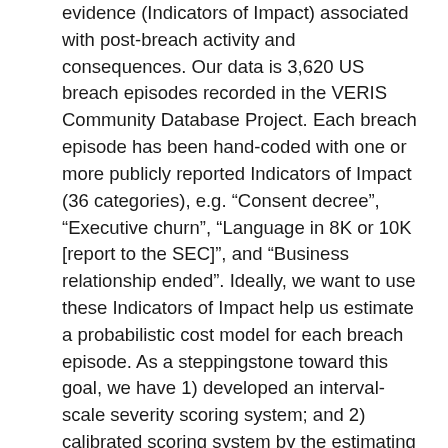evidence (Indicators of Impact) associated with post-breach activity and consequences. Our data is 3,620 US breach episodes recorded in the VERIS Community Database Project. Each breach episode has been hand-coded with one or more publicly reported Indicators of Impact (36 categories), e.g. “Consent decree”, “Executive churn”, “Language in 8K or 10K [report to the SEC]”, and “Business relationship ended”. Ideally, we want to use these Indicators of Impact help us estimate a probabilistic cost model for each breach episode. As a steppingstone toward this goal, we have 1) developed an interval-scale severity scoring system; and 2) calibrated scoring system by the estimating the relative contribution of each Indicator of Impact as well as their functional interactions. The resulting severity scores should be useful to practitioners and policy makers for those